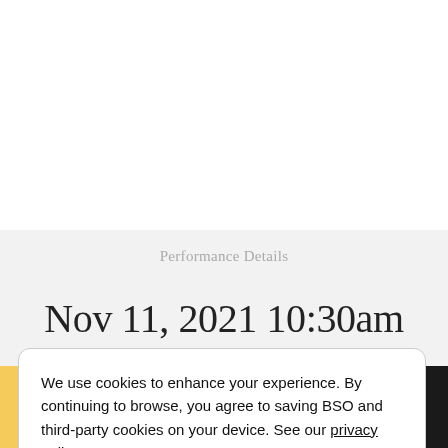Performance Details
Nov 11, 2021 10:30am
We use cookies to enhance your experience. By continuing to browse, you agree to saving BSO and third-party cookies on your device. See our privacy policy.
Dismiss
Tickets | Listen | Donate | Log In